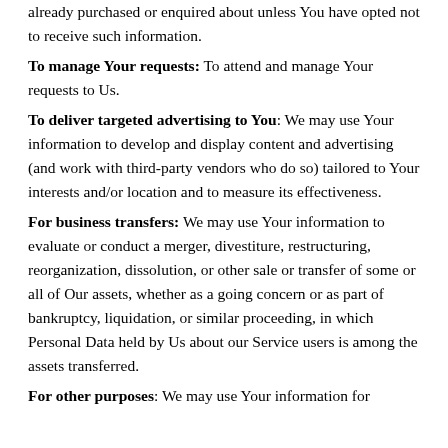already purchased or enquired about unless You have opted not to receive such information.
To manage Your requests: To attend and manage Your requests to Us.
To deliver targeted advertising to You: We may use Your information to develop and display content and advertising (and work with third-party vendors who do so) tailored to Your interests and/or location and to measure its effectiveness.
For business transfers: We may use Your information to evaluate or conduct a merger, divestiture, restructuring, reorganization, dissolution, or other sale or transfer of some or all of Our assets, whether as a going concern or as part of bankruptcy, liquidation, or similar proceeding, in which Personal Data held by Us about our Service users is among the assets transferred.
For other purposes: We may use Your information for